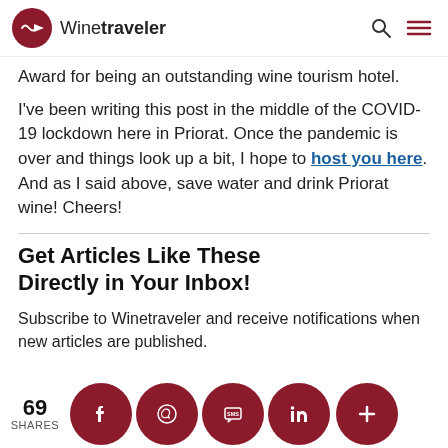Winetraveler
Award for being an outstanding wine tourism hotel.
I've been writing this post in the middle of the COVID-19 lockdown here in Priorat. Once the pandemic is over and things look up a bit, I hope to host you here. And as I said above, save water and drink Priorat wine! Cheers!
Get Articles Like These Directly in Your Inbox!
Subscribe to Winetraveler and receive notifications when new articles are published.
69 SHARES